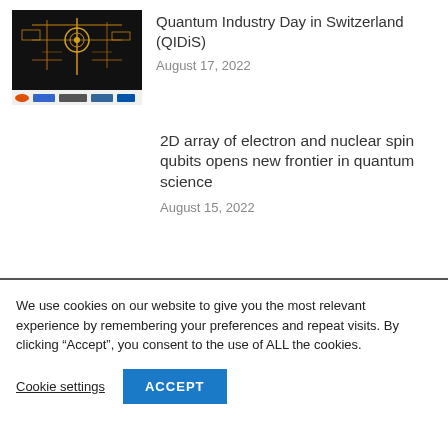[Figure (photo): Thumbnail image of a quantum device (gold circuit on dark background) with event logos below]
Quantum Industry Day in Switzerland (QIDiS)
August 17, 2022
2D array of electron and nuclear spin qubits opens new frontier in quantum science
August 15, 2022
We use cookies on our website to give you the most relevant experience by remembering your preferences and repeat visits. By clicking “Accept”, you consent to the use of ALL the cookies.
Cookie settings
ACCEPT